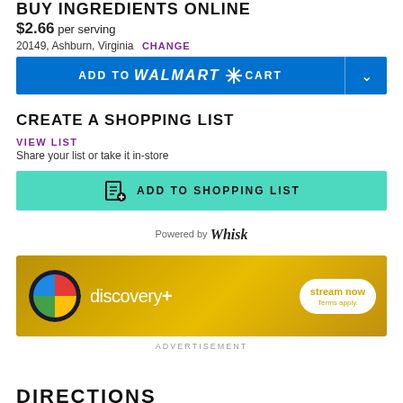BUY INGREDIENTS ONLINE
$2.66 per serving
20149, Ashburn, Virginia CHANGE
[Figure (other): ADD TO Walmart CART button in blue with dropdown arrow]
CREATE A SHOPPING LIST
VIEW LIST
Share your list or take it in-store
[Figure (other): ADD TO SHOPPING LIST button in teal/cyan color with list icon]
Powered by Whisk
[Figure (other): discovery+ advertisement banner with stream now button]
ADVERTISEMENT
DIRECTIONS